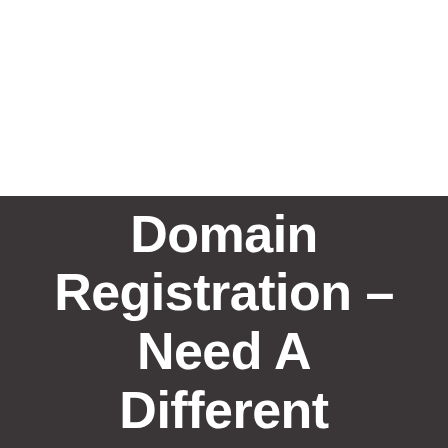[Figure (other): White blank area occupying the top portion of the page]
.football Domain Registration – Need A Different Solution?